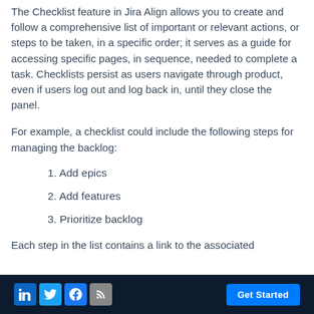The Checklist feature in Jira Align allows you to create and follow a comprehensive list of important or relevant actions, or steps to be taken, in a specific order; it serves as a guide for accessing specific pages, in sequence, needed to complete a task. Checklists persist as users navigate through product, even if users log out and log back in, until they close the panel.
For example, a checklist could include the following steps for managing the backlog:
1. Add epics
2. Add features
3. Prioritize backlog
Each step in the list contains a link to the associated
LinkedIn Twitter Facebook RSS  Get Started